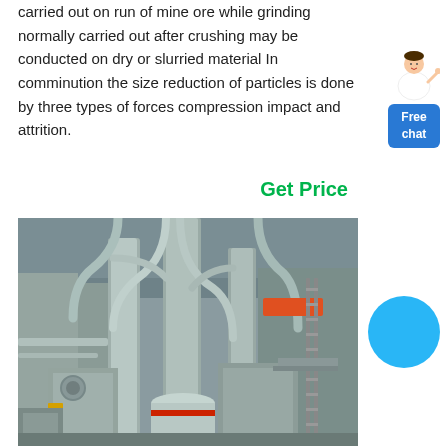carried out on run of mine ore while grinding normally carried out after crushing may be conducted on dry or slurried material In comminution the size reduction of particles is done by three types of forces compression impact and attrition.
Get Price
[Figure (photo): Industrial mineral processing / grinding mill equipment inside a factory building, showing large grey metal ducts, pipes, silos, conveyors and structural steelwork.]